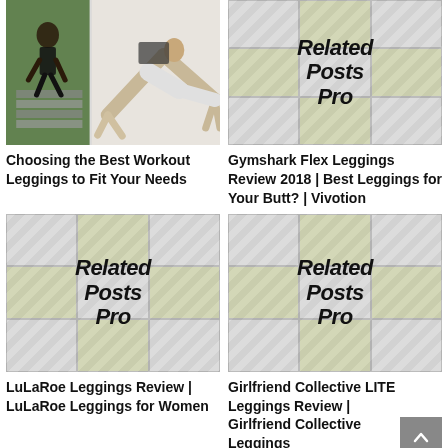[Figure (photo): Collage of two fitness photos: woman running outdoors on left, woman doing downward dog yoga pose on right]
Choosing the Best Workout Leggings to Fit Your Needs
[Figure (illustration): Related Posts Pro plugin placeholder image with grid/checkered background]
Gymshark Flex Leggings Review 2018 | Best Leggings for Your Butt? | Vivotion
[Figure (illustration): Related Posts Pro plugin placeholder image with grid/checkered background]
LuLaRoe Leggings Review | LuLaRoe Leggings for Women
[Figure (illustration): Related Posts Pro plugin placeholder image with grid/checkered background]
Girlfriend Collective LITE Leggings Review | Girlfriend Collective Leggings